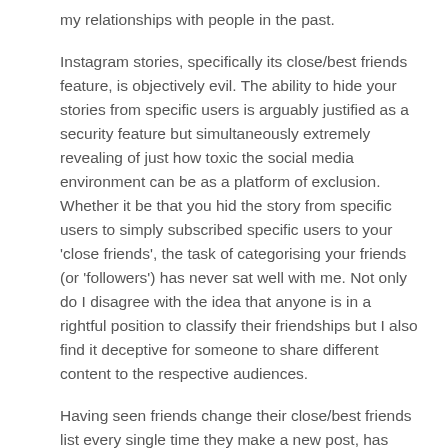my relationships with people in the past.
Instagram stories, specifically its close/best friends feature, is objectively evil. The ability to hide your stories from specific users is arguably justified as a security feature but simultaneously extremely revealing of just how toxic the social media environment can be as a platform of exclusion. Whether it be that you hid the story from specific users to simply subscribed specific users to your 'close friends', the task of categorising your friends (or 'followers') has never sat well with me. Not only do I disagree with the idea that anyone is in a rightful position to classify their friendships but I also find it deceptive for someone to share different content to the respective audiences.
Having seen friends change their close/best friends list every single time they make a new post, has made me reconsider the genuineness of a lot of the content I am seeing on social media.
Log in to Reply